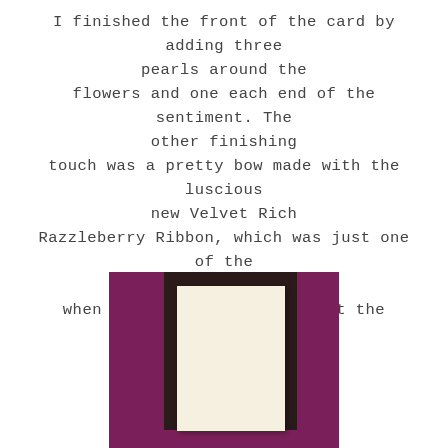I finished the front of the card by adding three pearls around the flowers and one each end of the sentiment. The other finishing touch was a pretty bow made with the luscious new Velvet Rich Razzleberry Ribbon, which was just one of the gifts I received when I went to CentreStage at the beginning of April!
[Figure (photo): A photo showing a purple/magenta greeting card folded open, with a cream/ivory white panel on the inside, set against a dark brown background.]